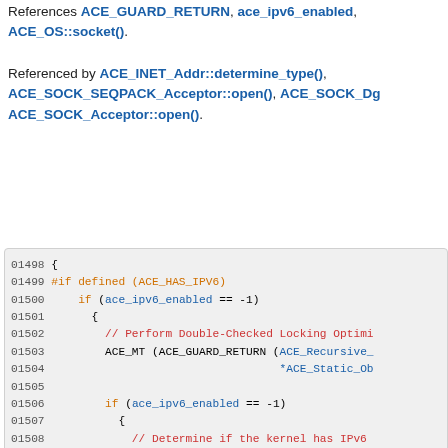References ACE_GUARD_RETURN, ace_ipv6_enabled, ACE_OS::socket().
Referenced by ACE_INET_Addr::determine_type(), ACE_SOCK_SEQPACK_Acceptor::open(), ACE_SOCK_Dg..., ACE_SOCK_Acceptor::open().
[Figure (screenshot): Source code block showing C++ code lines 01498-01518 with syntax highlighting. Lines include preprocessor directives, if statements, comments, and function calls related to IPv6 socket handling.]